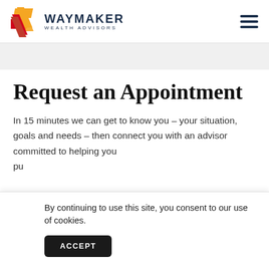WAYMAKER WEALTH ADVISORS
Request an Appointment
In 15 minutes we can get to know you – your situation, goals and needs – then connect you with an advisor committed to helping you pu
By continuing to use this site, you consent to our use of cookies.
ACCEPT